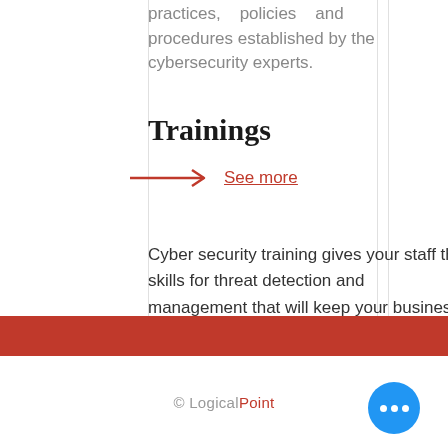practices, policies and procedures established by the cybersecurity experts.
Trainings
→ See more
Cyber security training gives your staff the skills for threat detection and management that will keep your business safe.
© LogicalPoint